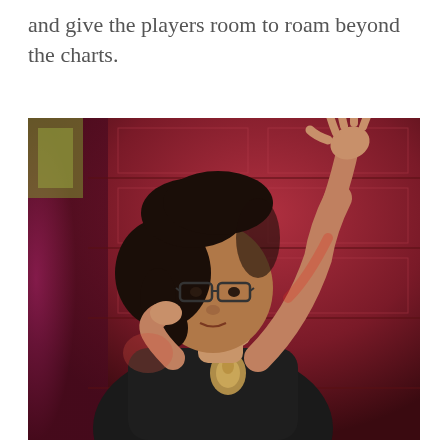and give the players room to roam beyond the charts.
[Figure (photo): A woman with curly dark hair and glasses, wearing a dark short-sleeve top and a decorative brooch, stands in front of a dark red wooden paneled background. She has her right arm raised with her hand open, and her left hand near her chin, as if conducting or gesturing expressively.]